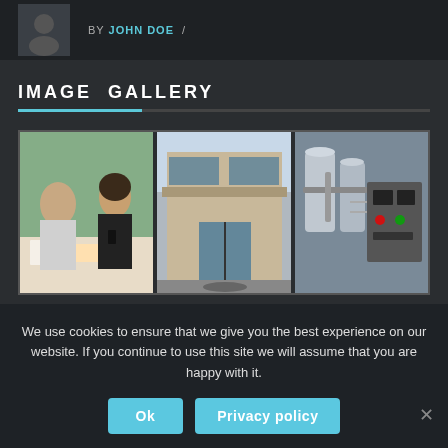BY JOHN DOE /
IMAGE GALLERY
[Figure (photo): Three-panel image gallery: left panel shows two people in a business meeting at a table with papers; center panel shows a modern commercial building exterior with glass doors; right panel shows industrial machinery/equipment.]
We use cookies to ensure that we give you the best experience on our website. If you continue to use this site we will assume that you are happy with it.
Ok
Privacy policy